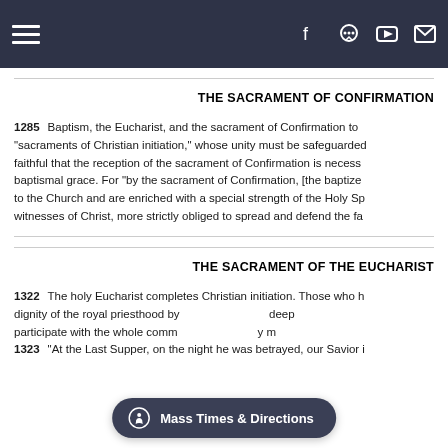Navigation bar with hamburger menu, Facebook, chat, YouTube, and email icons
THE SACRAMENT OF CONFIRMATION
1285   Baptism, the Eucharist, and the sacrament of Confirmation together constitute the "sacraments of Christian initiation," whose unity must be safeguarded. It must be explained to the faithful that the reception of the sacrament of Confirmation is necessary for the completion of baptismal grace. For "by the sacrament of Confirmation, [the baptized] are more perfectly bound to the Church and are enriched with a special strength of the Holy Spirit. Hence they are, as true witnesses of Christ, more strictly obliged to spread and defend the fa...
THE SACRAMENT OF THE EUCHARIST
1322   The holy Eucharist completes Christian initiation. Those who have been raised to the dignity of the royal priesthood by Baptism and configured more deeply to Christ by Confirmation participate with the whole comm... ...y m...
1323   "At the Last Supper, on the night he was betrayed, our Savior in...